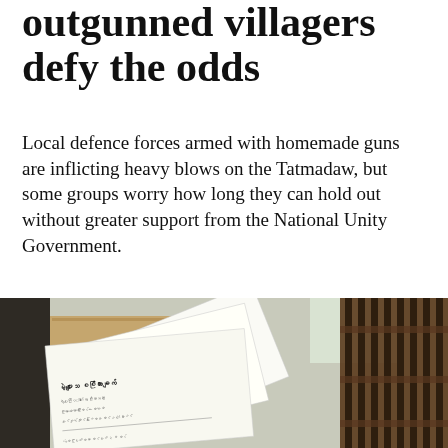outgunned villagers defy the odds
Local defence forces armed with homemade guns are inflicting heavy blows on the Tatmadaw, but some groups worry how long they can hold out without greater support from the National Unity Government.
[Figure (photo): Photo of papers/documents written in Myanmar script stacked on a wooden chair or bench, with a wooden slatted fence/gate visible on the right side and a dark wooden structure on the left.]